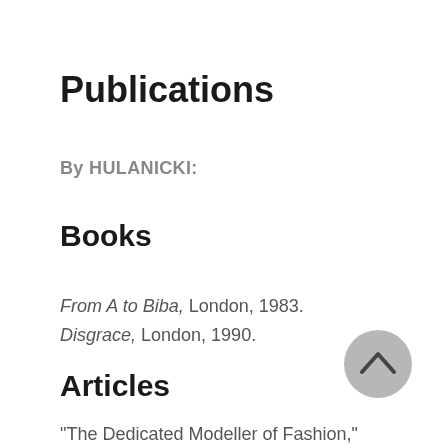Publications
By HULANICKI:
Books
From A to Biba, London, 1983.
Disgrace, London, 1990.
Articles
"The Dedicated Modeller of Fashion," in the Times (London), 15August